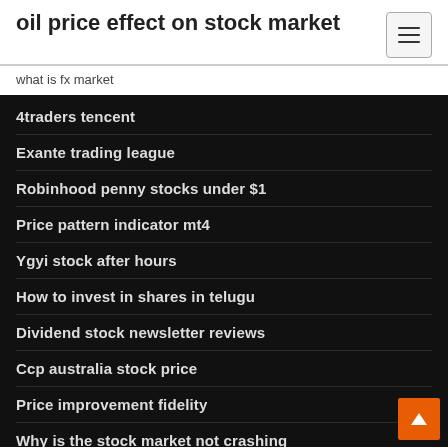oil price effect on stock market
what is fx market
4traders tencent
Exante trading league
Robinhood penny stocks under $1
Price pattern indicator mt4
Ygyi stock after hours
How to invest in shares in telugu
Dividend stock newsletter reviews
Ccp australia stock price
Price improvement fidelity
Why is the stock market not crashing